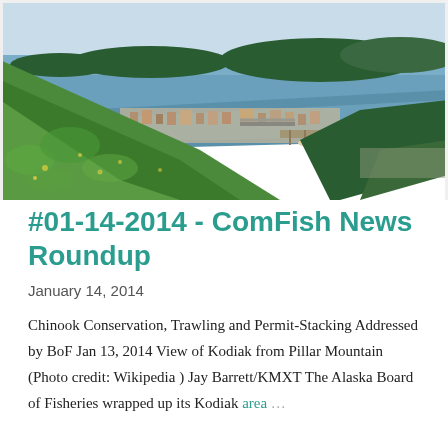[Figure (photo): Aerial view of Kodiak, Alaska from Pillar Mountain, showing green hillside in foreground, town and harbor with boats in middle ground, and islands and ocean in background.]
#01-14-2014 - ComFish News Roundup
January 14, 2014
Chinook Conservation, Trawling and Permit-Stacking Addressed by BoF Jan 13, 2014 View of Kodiak from Pillar Mountain (Photo credit: Wikipedia ) Jay Barrett/KMXT The Alaska Board of Fisheries wrapped up its Kodiak area ...